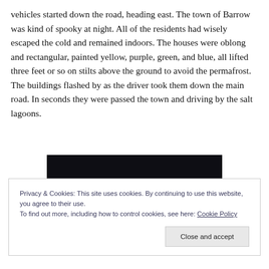vehicles started down the road, heading east. The town of Barrow was kind of spooky at night. All of the residents had wisely escaped the cold and remained indoors. The houses were oblong and rectangular, painted yellow, purple, green, and blue, all lifted three feet or so on stilts above the ground to avoid the permafrost. The buildings flashed by as the driver took them down the main road. In seconds they were passed the town and driving by the salt lagoons.
[Figure (photo): Dark/black rectangular image block, partially visible at top of cookie banner overlap area]
Privacy & Cookies: This site uses cookies. By continuing to use this website, you agree to their use.
To find out more, including how to control cookies, see here: Cookie Policy
Close and accept